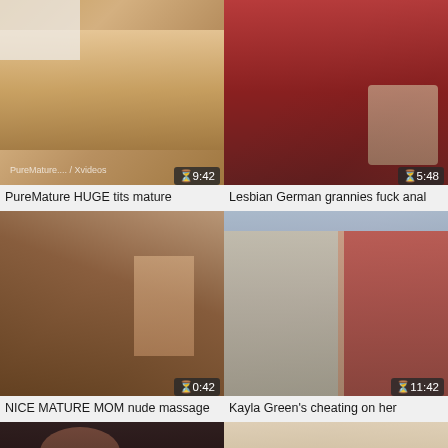[Figure (screenshot): Video thumbnail grid showing adult video website layout with 6 video thumbnails in 2-column grid]
PureMature HUGE tits mature
Lesbian German grannies fuck anal
NICE MATURE MOM nude massage
Kayla Green's cheating on her
[Figure (photo): Bottom left partial thumbnail]
[Figure (photo): Bottom right partial thumbnail]